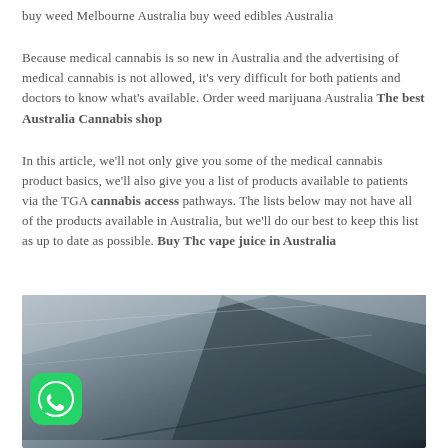buy weed Melbourne Australia buy weed edibles Australia
Because medical cannabis is so new in Australia and the advertising of medical cannabis is not allowed, it’s very difficult for both patients and doctors to know what’s available. Order weed marijuana Australia The best Australia Cannabis shop
In this article, we’ll not only give you some of the medical cannabis product basics, we’ll also give you a list of products available to patients via the TGA cannabis access pathways. The lists below may not have all of the products available in Australia, but we’ll do our best to keep this list as up to date as possible. Buy Thc vape juice in Australia
[Figure (photo): Close-up photo of cannabis/weed buds with a WhatsApp icon overlay in the lower left corner]